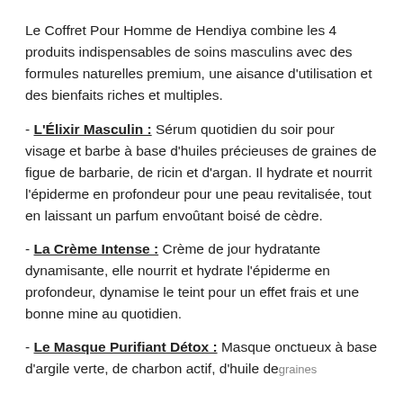Le Coffret Pour Homme de Hendiya combine les 4 produits indispensables de soins masculins avec des formules naturelles premium, une aisance d'utilisation et des bienfaits riches et multiples.
- L'Élixir Masculin : Sérum quotidien du soir pour visage et barbe à base d'huiles précieuses de graines de figue de barbarie, de ricin et d'argan. Il hydrate et nourrit l'épiderme en profondeur pour une peau revitalisée, tout en laissant un parfum envoûtant boisé de cèdre.
- La Crème Intense : Crème de jour hydratante dynamisante, elle nourrit et hydrate l'épiderme en profondeur, dynamise le teint pour un effet frais et une bonne mine au quotidien.
- Le Masque Purifiant Détox : Masque onctueux à base d'argile verte, de charbon actif, d'huile de graines